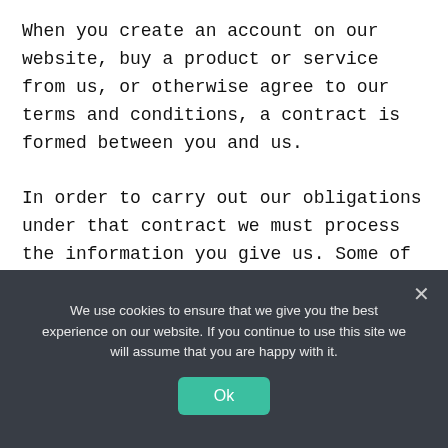When you create an account on our website, buy a product or service from us, or otherwise agree to our terms and conditions, a contract is formed between you and us.
In order to carry out our obligations under that contract we must process the information you give us. Some of this information may be personal information.
We use cookies to ensure that we give you the best experience on our website. If you continue to use this site we will assume that you are happy with it.